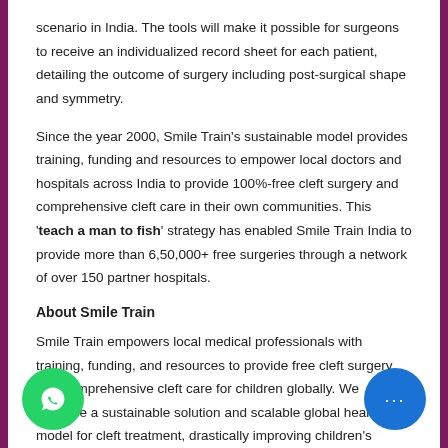scenario in India. The tools will make it possible for surgeons to receive an individualized record sheet for each patient, detailing the outcome of surgery including post-surgical shape and symmetry.
Since the year 2000, Smile Train's sustainable model provides training, funding and resources to empower local doctors and hospitals across India to provide 100%-free cleft surgery and comprehensive cleft care in their own communities. This 'teach a man to fish' strategy has enabled Smile Train India to provide more than 6,50,000+ free surgeries through a network of over 150 partner hospitals.
About Smile Train
Smile Train empowers local medical professionals with training, funding, and resources to provide free cleft surgery and comprehensive cleft care for children globally. We advance a sustainable solution and scalable global health model for cleft treatment, drastically improving children's